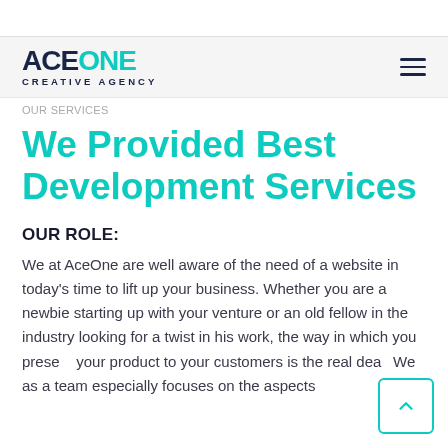AceOne Creative Agency
OUR SERVICES
We Provided Best Development Services
OUR ROLE:
We at AceOne are well aware of the need of a website in today's time to lift up your business. Whether you are a newbie starting up with your venture or an old fellow in the industry looking for a twist in his work, the way in which you present your product to your customers is the real deal. We as a team especially focuses on the aspects